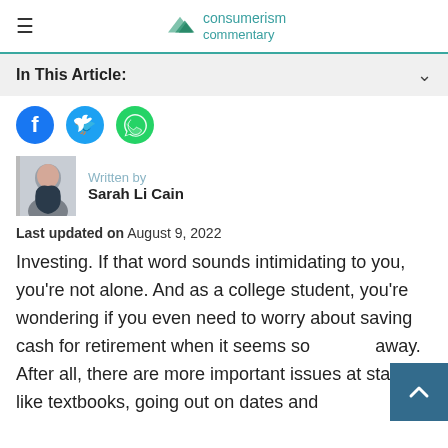consumerism commentary
In This Article:
[Figure (illustration): Social share icons: Facebook (blue circle), Twitter (blue circle), WhatsApp (green circle)]
[Figure (photo): Author photo of Sarah Li Cain]
Written by
Sarah Li Cain
Last updated on August 9, 2022
Investing. If that word sounds intimidating to you, you're not alone. And as a college student, you're wondering if you even need to worry about saving cash for retirement when it seems so far away. After all, there are more important issues at stake, like textbooks, going out on dates and